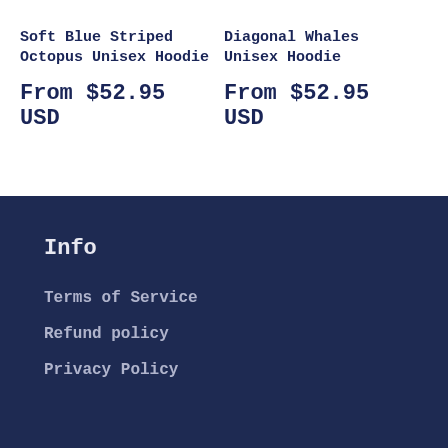Soft Blue Striped Octopus Unisex Hoodie
From $52.95 USD
Diagonal Whales Unisex Hoodie
From $52.95 USD
Info
Terms of Service
Refund policy
Privacy Policy